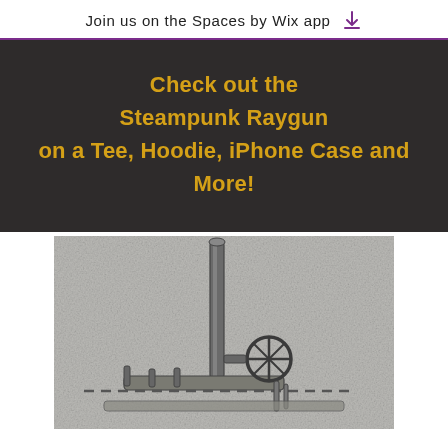Join us on the Spaces by Wix app
Check out the Steampunk Raygun on a Tee, Hoodie, iPhone Case and More!
[Figure (illustration): Black and white illustration of a steampunk raygun showing a vertical barrel tube with a crosshair/wheel mechanism near the bottom, against a textured grey background.]